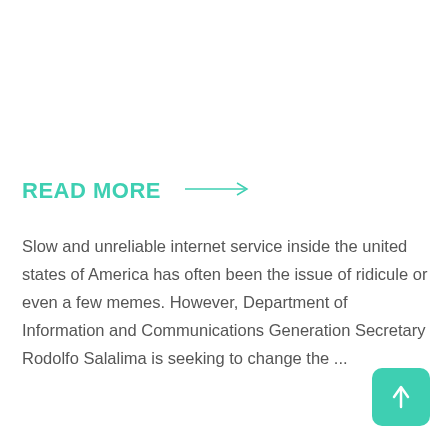READ MORE
Slow and unreliable internet service inside the united states of America has often been the issue of ridicule or even a few memes. However, Department of Information and Communications Generation Secretary Rodolfo Salalima is seeking to change the ...